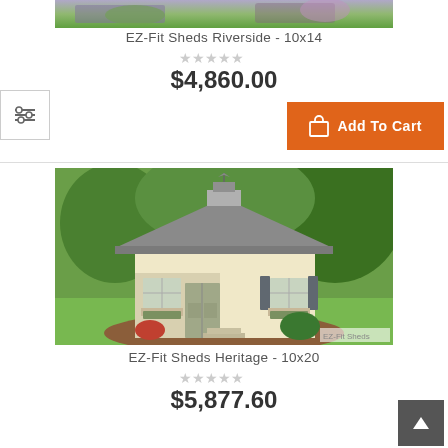[Figure (photo): Partial top image of EZ-Fit Sheds Riverside 10x14 product (cropped at top)]
EZ-Fit Sheds Riverside - 10x14
☆☆☆☆☆
$4,860.00
Add To Cart
[Figure (photo): EZ-Fit Sheds Heritage 10x20 - beige/cream colored shed with gabled roof, double doors, windows with shutters, surrounded by landscaping in a backyard setting]
EZ-Fit Sheds Heritage - 10x20
☆☆☆☆☆
$5,877.60